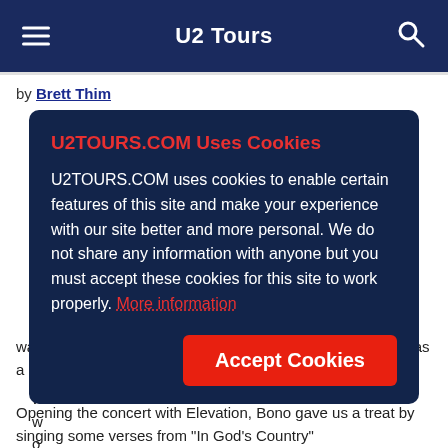U2 Tours
by Brett Thim
[Figure (other): Cookie consent overlay popup with dark navy background. Title: 'U2TOURS.COM Uses Cookies' in red. Body text: 'U2TOURS.COM uses cookies to enable certain features of this site and make your experience with our site better and more personal. We do not share any information with anyone but you must accept these cookies for this site to work properly. More information'. Red 'Accept Cookies' button at bottom right.]
was so enthusiastic that I think everyone left feeling that it was a great show.
Opening the concert with Elevation, Bono gave us a treat by singing some verses from "In God's Country"